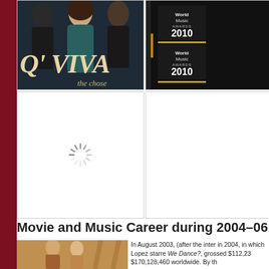[Figure (photo): Q'VIVA promotional image showing three people (two men and a woman in the center wearing dark teal/green dress) with large stylized text 'Q' VIVA' and subtitle 'the chosen' overlaid]
[Figure (photo): World Music Awards 2010 backdrop/banner image showing the World Music Awards 2010 logo repeated]
[Figure (photo): Loading spinner icon (gray radial spinner) on white background indicating an image is loading]
[Figure (photo): Partially visible white/blank image area on right side, second row]
Movie and Music Career during 2004–06. Third
[Figure (photo): Bottom left photo showing two people, appears to be a movie still with warm golden/brown tones]
In August 2003, (after the inter in 2004, in which Lopez starre We Dance?, grossed $112,23 $170,128,460 worldwide. By th